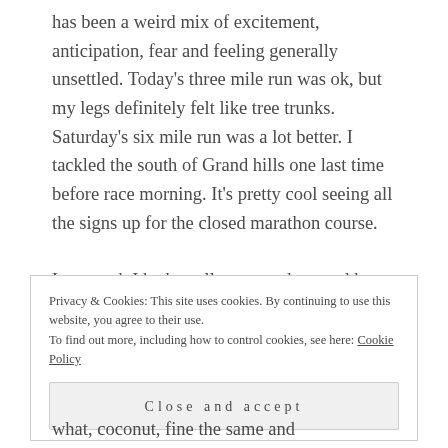has been a weird mix of excitement, anticipation, fear and feeling generally unsettled. Today's three mile run was ok, but my legs definitely felt like tree trunks. Saturday's six mile run was a lot better. I tackled the south of Grand hills one last time before race morning. It's pretty cool seeing all the signs up for the closed marathon course.

Last week I had an allergy test done and have discovered that I'm mildly allergic to a lot of things, including: cats and dogs, three of the four pollens in
Privacy & Cookies: This site uses cookies. By continuing to use this website, you agree to their use.
To find out more, including how to control cookies, see here: Cookie Policy
Close and accept
what, coconut, fine the same and